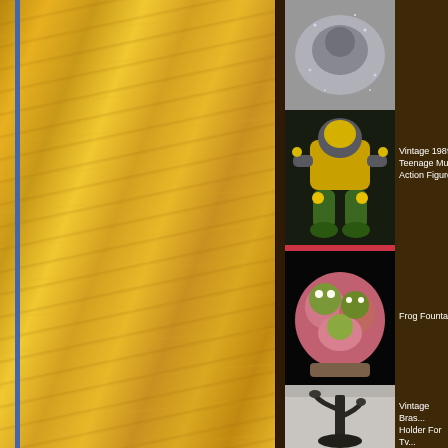[Figure (photo): Left panel showing wood grain texture in golden/amber tones with blue accent strip]
[Figure (photo): Product thumbnail - metallic decorative figure or brooch with rhinestones]
[Figure (photo): Product thumbnail - Vintage 1989 Teenage Mutant action figure with gold belt]
Vintage 1989 Teenage Mut... Action Figure...
[Figure (photo): Product thumbnail - Frog Fountain figurine, colorful ceramic piece]
Frog Fountai...
[Figure (photo): Product thumbnail - Vintage Brass... Holder For Tv...]
Vintage Bras... Holder For Tv... $20.00